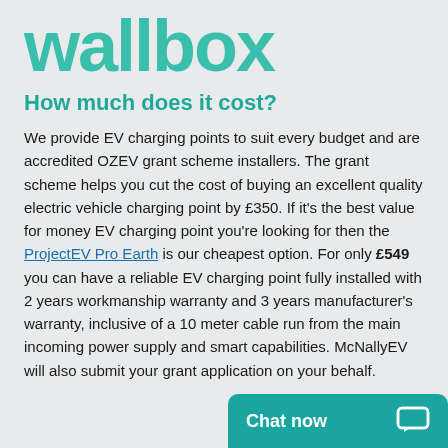[Figure (logo): Wallbox logo in teal/green color with rounded bold lettering]
How much does it cost?
We provide EV charging points to suit every budget and are accredited OZEV grant scheme installers. The grant scheme helps you cut the cost of buying an excellent quality electric vehicle charging point by £350. If it's the best value for money EV charging point you're looking for then the ProjectEV Pro Earth is our cheapest option. For only £549 you can have a reliable EV charging point fully installed with 2 years workmanship warranty and 3 years manufacturer's warranty, inclusive of a 10 meter cable run from the main incoming power supply and smart capabilities. McNallyEV will also submit your grant application on your behalf.
[Figure (other): Teal chat now button bar at bottom right with speech bubble icon]